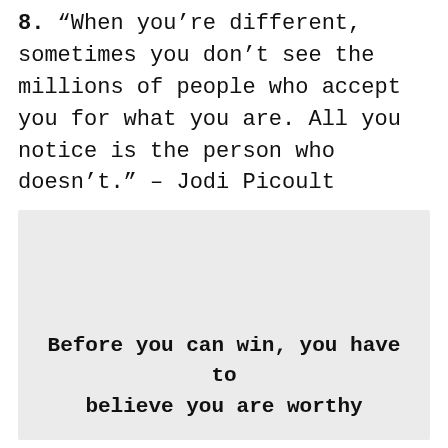8. “When you’re different, sometimes you don’t see the millions of people who accept you for what you are. All you notice is the person who doesn’t.” – Jodi Picoult
[Figure (other): Light gray rectangular background panel containing bold typewriter-style text: 'Before you can win, you have to believe you are worthy']